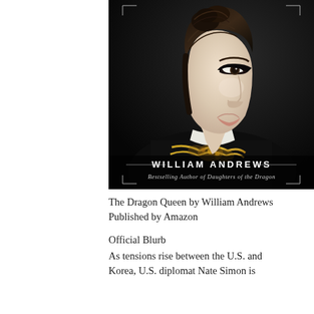[Figure (photo): Book cover of 'The Dragon Queen' by William Andrews. Dark background with a close-up profile portrait of an East Asian woman with braided updo hair, wearing a black robe with gold floral embroidery and white collar. Text on cover reads 'WILLIAM ANDREWS' and 'Bestselling Author of Daughters of the Dragon'.]
The Dragon Queen by William Andrews
Published by Amazon
Official Blurb
As tensions rise between the U.S. and Korea, U.S. diplomat Nate Simon is